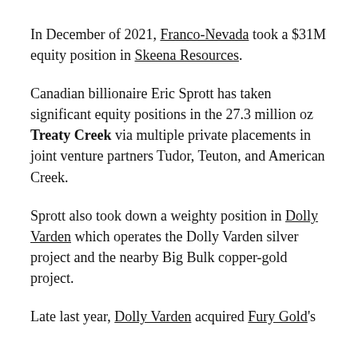In December of 2021, Franco-Nevada took a $31M equity position in Skeena Resources.
Canadian billionaire Eric Sprott has taken significant equity positions in the 27.3 million oz Treaty Creek via multiple private placements in joint venture partners Tudor, Teuton, and American Creek.
Sprott also took down a weighty position in Dolly Varden which operates the Dolly Varden silver project and the nearby Big Bulk copper-gold project.
Late last year, Dolly Varden acquired Fury Gold's